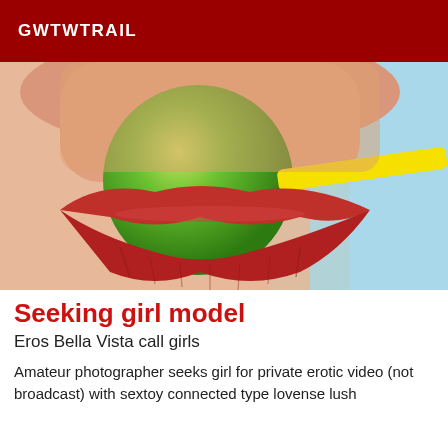GWTWTRAIL
[Figure (photo): Close-up photo of lips with red lipstick holding a green round lollipop with a yellow stick, light blue background on the right side.]
Seeking girl model
Eros Bella Vista call girls
Amateur photographer seeks girl for private erotic video (not broadcast) with sextoy connected type lovense lush